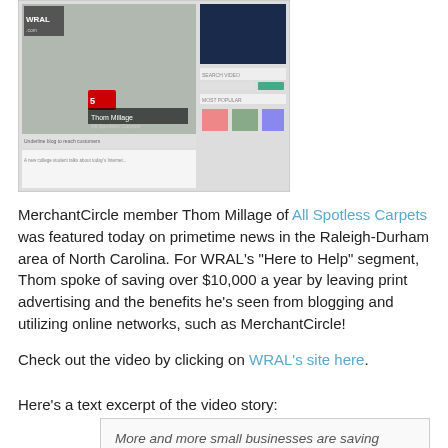[Figure (screenshot): Screenshot of WRAL.com website showing a video player with Thom Millage on screen, with 'All Spotless Carpets' caption visible, alongside the website's video search and most popular sections]
MerchantCircle member Thom Millage of All Spotless Carpets was featured today on primetime news in the Raleigh-Durham area of North Carolina. For WRAL's "Here to Help" segment, Thom spoke of saving over $10,000 a year by leaving print advertising and the benefits he's seen from blogging and utilizing online networks, such as MerchantCircle!
Check out the video by clicking on WRAL's site here.
Here's a text excerpt of the video story:
More and more small businesses are saving marketing dollars by turning to the Internet to